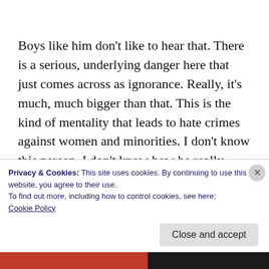Boys like him don't like to hear that. There is a serious, underlying danger here that just comes across as ignorance. Really, it's much, much bigger than that. This is the kind of mentality that leads to hate crimes against women and minorities. I don't know this person. I don't know how he really feels about
Privacy & Cookies: This site uses cookies. By continuing to use this website, you agree to their use.
To find out more, including how to control cookies, see here:
Cookie Policy
Close and accept